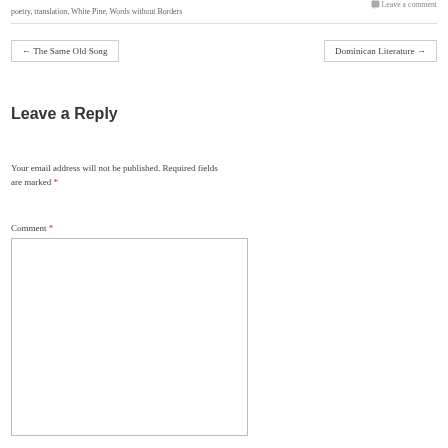poetry, translation, White Pine, Words without Borders
Leave a comment
← The Same Old Song
Dominican Literature →
Leave a Reply
Your email address will not be published. Required fields are marked *
Comment *